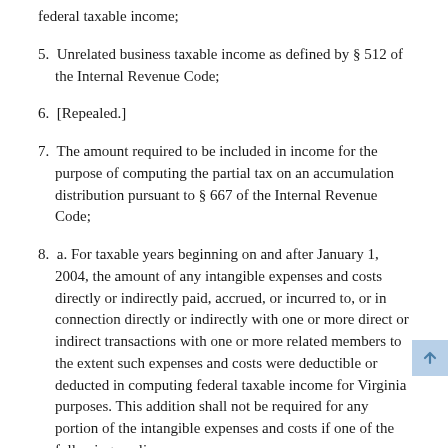federal taxable income;
5. Unrelated business taxable income as defined by § 512 of the Internal Revenue Code;
6. [Repealed.]
7. The amount required to be included in income for the purpose of computing the partial tax on an accumulation distribution pursuant to § 667 of the Internal Revenue Code;
8. a. For taxable years beginning on and after January 1, 2004, the amount of any intangible expenses and costs directly or indirectly paid, accrued, or incurred to, or in connection directly or indirectly with one or more direct or indirect transactions with one or more related members to the extent such expenses and costs were deductible or deducted in computing federal taxable income for Virginia purposes. This addition shall not be required for any portion of the intangible expenses and costs if one of the following applies: